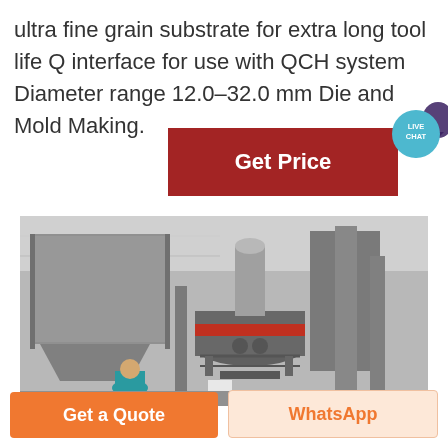ultra fine grain substrate for extra long tool life Q interface for use with QCH system Diameter range 12.0–32.0 mm Die and Mold Making.
[Figure (photo): Industrial milling/grinding machinery in a factory setting, showing large grey hoppers, cylindrical grinding mill with red-banded collar, piping, and workers in the foreground.]
Get Price
Get a Quote
WhatsApp